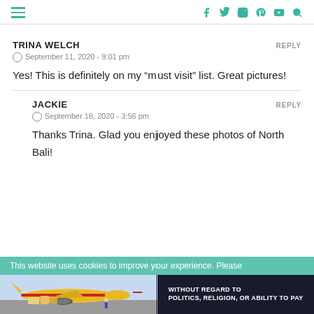Navigation header with hamburger menu and social icons: Facebook, Twitter, Instagram, Pinterest, YouTube, Search
TRINA WELCH
REPLY
September 11, 2020 - 9:01 pm
Yes! This is definitely on my “must visit” list. Great pictures!
JACKIE
REPLY
September 18, 2020 - 3:56 pm
Thanks Trina. Glad you enjoyed these photos of North Bali!
This website uses cookies to improve your experience. Please
[Figure (photo): Advertisement banner showing an airplane being loaded with cargo, with text 'WITHOUT REGARD TO POLITICS, RELIGION, OR ABILITY TO PAY']